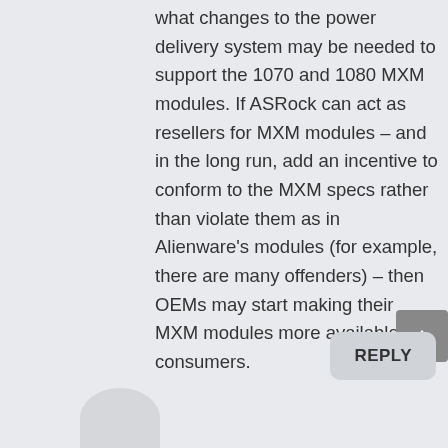what changes to the power delivery system may be needed to support the 1070 and 1080 MXM modules. If ASRock can act as resellers for MXM modules – and in the long run, add an incentive to conform to the MXM specs rather than violate them as in Alienware's modules (for example, there are many offenders) – then OEMs may start making their MXM modules more available to consumers.